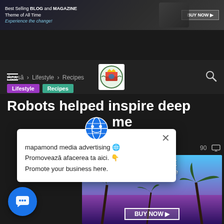[Figure (screenshot): Top banner advertisement: 'Best Selling BLOG and MAGAZINE Theme of All Time / Experience the change!' with BUY NOW button and device image]
Navigation bar with hamburger menu, coat of arms logo, and search icon
Acasă › Lifestyle › Recipes
Lifestyle  Recipes
Robots helped inspire deep ... me
90  0
[Figure (screenshot): Popup dialog with globe icon: 'mapamond media advertising / Promovează afacerea ta aici. / Promote your business here.' with close X button]
[Figure (screenshot): Article image: Blog and Magazine theme promotional image with palm trees, 'd MAGAZINE Theme of All Time' text and BUY NOW button]